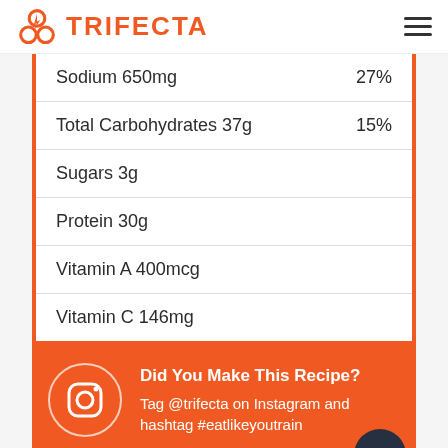TRIFECTA
| Nutrient | Daily Value |
| --- | --- |
| Sodium 650mg | 27% |
| Total Carbohydrates 37g | 15% |
| Sugars 3g |  |
| Protein 30g |  |
| Vitamin A 400mcg |  |
| Vitamin C 146mg |  |
Did You Make This Recipe? Tag @trifecta on Instagram and hashtag #eatlikeyoutrain